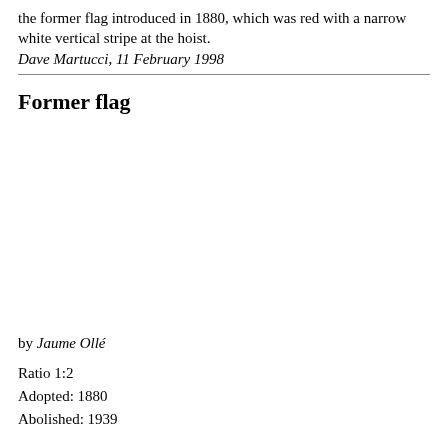the former flag introduced in 1880, which was red with a narrow white vertical stripe at the hoist.
Dave Martucci, 11 February 1998
Former flag
[Figure (illustration): Image area for the former flag — blank/white placeholder]
by Jaume Ollé
Ratio 1:2
Adopted: 1880
Abolished: 1939